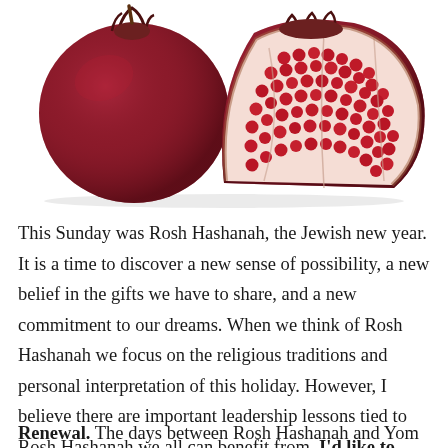[Figure (photo): Two pomegranates on a white background — one whole and one halved showing red seeds inside]
This Sunday was Rosh Hashanah, the Jewish new year. It is a time to discover a new sense of possibility, a new belief in the gifts we have to share, and a new commitment to our dreams. When we think of Rosh Hashanah we focus on the religious traditions and personal interpretation of this holiday. However, I believe there are important leadership lessons tied to Rosh Hashanah we all can benefit from. I'd like to invite you to take a moment to renew, reboot, and recommit to a good new year.
Renewal. The days between Rosh Hashanah and Yom